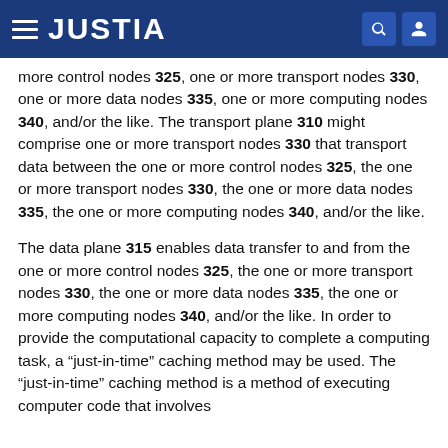JUSTIA
more control nodes 325, one or more transport nodes 330, one or more data nodes 335, one or more computing nodes 340, and/or the like. The transport plane 310 might comprise one or more transport nodes 330 that transport data between the one or more control nodes 325, the one or more transport nodes 330, the one or more data nodes 335, the one or more computing nodes 340, and/or the like.
The data plane 315 enables data transfer to and from the one or more control nodes 325, the one or more transport nodes 330, the one or more data nodes 335, the one or more computing nodes 340, and/or the like. In order to provide the computational capacity to complete a computing task, a “just-in-time” caching method may be used. The “just-in-time” caching method is a method of executing computer code that involves